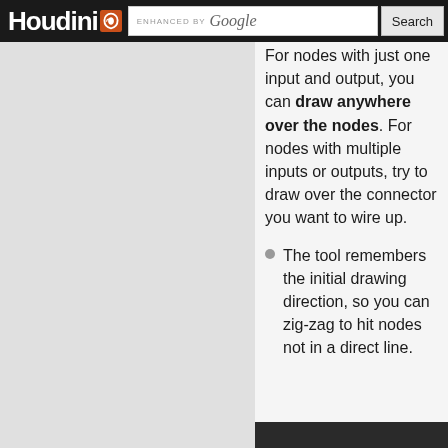Houdini — ENHANCED BY Google Search
For nodes with just one input and output, you can draw anywhere over the nodes. For nodes with multiple inputs or outputs, try to draw over the connector you want to wire up.
The tool remembers the initial drawing direction, so you can zig-zag to hit nodes not in a direct line.